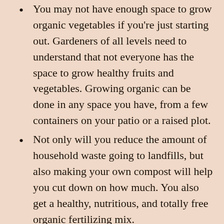You may not have enough space to grow organic vegetables if you're just starting out. Gardeners of all levels need to understand that not everyone has the space to grow healthy fruits and vegetables. Growing organic can be done in any space you have, from a few containers on your patio or a raised plot.
Not only will you reduce the amount of household waste going to landfills, but also making your own compost will help you cut down on how much. You also get a healthy, nutritious, and totally free organic fertilizing mix.
Many bedding plants found in garden centers do not have organic certification. You can ensure you only grow organic vegetables by purchasing your plants from an organic grower directly or using certified organic seeds